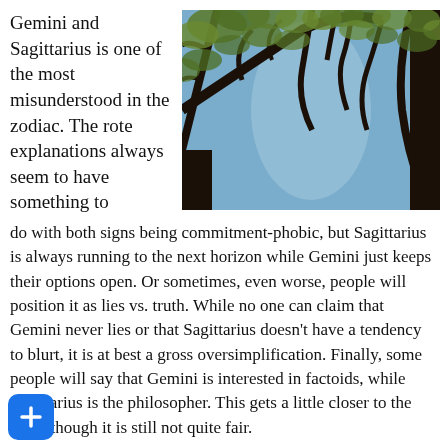Gemini and Sagittarius is one of the most misunderstood in the zodiac. The rote explanations always seem to have something to do with both signs being commitment-phobic, but Sagittarius is always running to the next horizon while Gemini just keeps their options open. Or sometimes, even worse, people will position it as lies vs. truth. While no one can claim that Gemini never lies or that Sagittarius doesn't have a tendency to blurt, it is at best a gross oversimplification. Finally, some people will say that Gemini is interested in factoids, while Sagittarius is the philosopher. This gets a little closer to the truth, though it is still not quite fair.
[Figure (photo): Looking up at tree canopy with branches and green leaves against a blue sky]
Ultimately, this axis is about how we process information. The way people explain it, Gemini collects information while Sagittarius interprets it. This is a reasonable description, but it